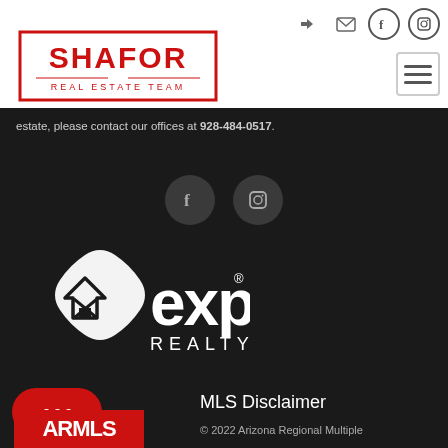[Figure (logo): SHAFOR Real Estate Team logo — red rectangle border with SHAFOR in bold red letters and REAL ESTATE TEAM below]
[Figure (infographic): Navigation icons: login arrow, email envelope, Facebook f circle, Instagram camera circle, and hamburger menu button]
estate, please contact our offices at 928-484-0517.
[Figure (infographic): Social media icon circles: Facebook f and Instagram camera, dark grey background circles]
[Figure (logo): eXp Realty logo in white on dark background — house icon with X and eXp Realty wordmark]
[Figure (logo): ARMLS logo — red background with white bold text]
MLS Disclaimer
© 2022 Arizona Regional Multiple